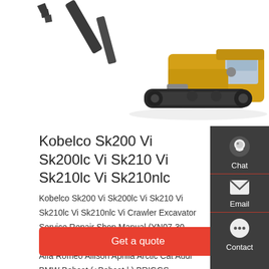[Figure (photo): Kobelco crawler excavator (yellow/black) shown from side angle on white background — arm raised upper left, tracks on ground]
Kobelco Sk200 Vi Sk200lc Vi Sk210 Vi Sk210lc Vi Sk210nlc
Kobelco Sk200 Vi Sk200lc Vi Sk210 Vi Sk210lc Vi Sk210nlc Vi Crawler Excavator Service Repair Shop Manual (YN07-30 - YQ07-03501 -) Acer Acura AEON AGCO Alfa Romeo Allison Aprilia Arctic Cat Audi BMW Bobcat (+Bobcat | ) BRIGGS STRATTON Canon Case/Case IH Caterpillar Challenger Chrysler Claas
Get a quote